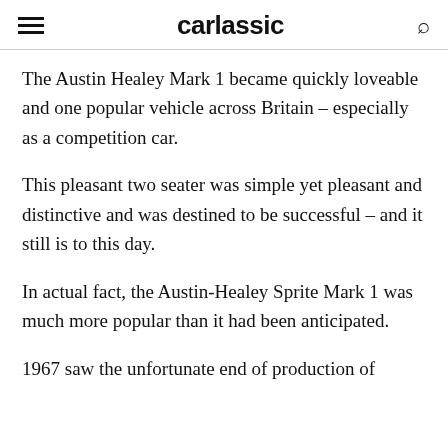carlassic
The Austin Healey Mark 1 became quickly loveable and one popular vehicle across Britain – especially as a competition car.
This pleasant two seater was simple yet pleasant and distinctive and was destined to be successful – and it still is to this day.
In actual fact, the Austin-Healey Sprite Mark 1 was much more popular than it had been anticipated.
1967 saw the unfortunate end of production of